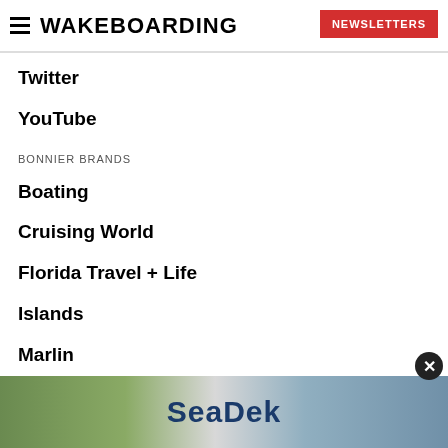WAKEBOARDING | NEWSLETTERS
Twitter
YouTube
BONNIER BRANDS
Boating
Cruising World
Florida Travel + Life
Islands
Marlin
Sailing World
Salt Water Sportsman
Sport (partially visible)
Yachting
[Figure (photo): SeaDek advertisement banner with family boating scene and SeaDek logo]